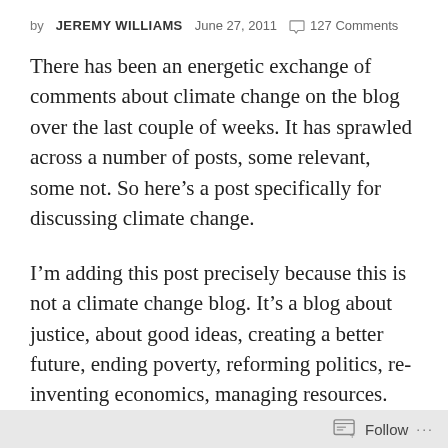by JEREMY WILLIAMS  June 27, 2011  127 Comments
There has been an energetic exchange of comments about climate change on the blog over the last couple of weeks. It has sprawled across a number of posts, some relevant, some not. So here's a post specifically for discussing climate change.
I'm adding this post precisely because this is not a climate change blog. It's a blog about justice, about good ideas, creating a better future, ending poverty, reforming politics, re-inventing economics, managing resources. It's about how
Follow ...